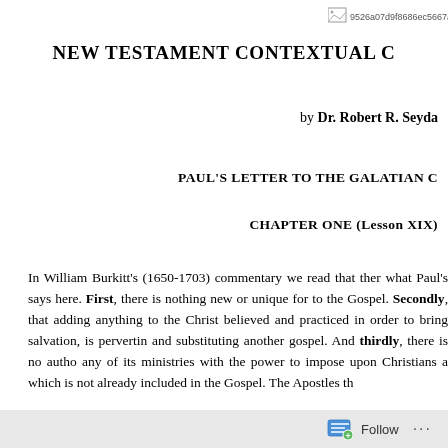[Figure (other): Broken image icon/placeholder with hash filename 9526a07d9f8686ec5667a96cad... in page header area]
NEW TESTAMENT CONTEXTUAL C
by Dr. Robert R. Seyda
PAUL'S LETTER TO THE GALATIAN C
CHAPTER ONE (Lesson XIX)
In William Burkitt's (1650-1703) commentary we read that ther what Paul's says here. First, there is nothing new or unique for to the Gospel. Secondly, that adding anything to the Christ believed and practiced in order to bring salvation, is pervertin and substituting another gospel. And thirdly, there is no autho any of its ministries with the power to impose upon Christians a which is not already included in the Gospel. The Apostles th
Follow ...